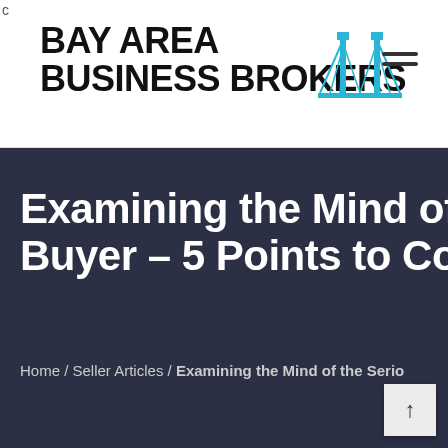[Figure (logo): Bay Area Business Brokers logo with bridge icon and hamburger menu]
Examining the Mind of the Buyer – 5 Points to Consider
Home / Seller Articles / Examining the Mind of the Serious Buyer